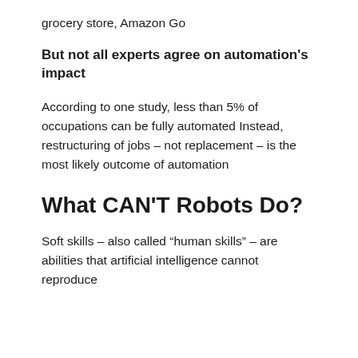grocery store, Amazon Go
But not all experts agree on automation's impact
According to one study, less than 5% of occupations can be fully automated Instead, restructuring of jobs – not replacement – is the most likely outcome of automation
What CAN'T Robots Do?
Soft skills – also called “human skills” – are abilities that artificial intelligence cannot reproduce